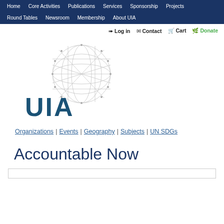Home | Core Activities | Publications | Services | Sponsorship | Projects | Round Tables | Newsroom | Membership | About UIA
🔑 Log in  ✉ Contact  🛒 Cart  🍃 Donate
[Figure (logo): UIA (Union of International Associations) logo: large blue bold text 'UIA' with a wireframe globe graphic overlapping on the right side]
Organizations | Events | Geography | Subjects | UN SDGs
Accountable Now